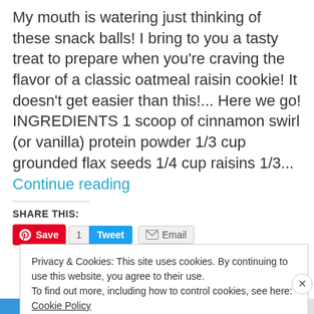My mouth is watering just thinking of these snack balls! I bring to you a tasty treat to prepare when you're craving the flavor of a classic oatmeal raisin cookie! It doesn't get easier than this!... Here we go! INGREDIENTS 1 scoop of cinnamon swirl (or vanilla) protein powder 1/3 cup grounded flax seeds 1/4 cup raisins 1/3... Continue reading
SHARE THIS:
[Figure (screenshot): Social share buttons: Pinterest Save, Tweet with count 1, Email]
Privacy & Cookies: This site uses cookies. By continuing to use this website, you agree to their use.
To find out more, including how to control cookies, see here: Cookie Policy
Close and accept